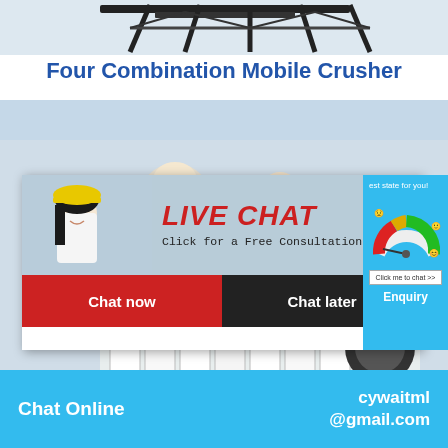[Figure (photo): Top portion of industrial mobile crusher machine frame (dark/black metal frame), shown at top of page]
Four Combination Mobile Crusher
[Figure (photo): Workers in yellow hard hats with a live chat popup overlay. Live chat popup shows 'LIVE CHAT', 'Click for a Free Consultation', 'Chat now' (red button) and 'Chat later' (dark button). Background shows industrial crusher machinery (white metal structure with bolts).]
[Figure (infographic): Right sidebar widget on cyan/blue background showing a gauge/meter graphic with smiley faces rating system, 'Click me to chat >>' button, and 'Enquiry' text. Partial text 'est state for you!' visible at top.]
Chat Online
cywaitml@gmail.com